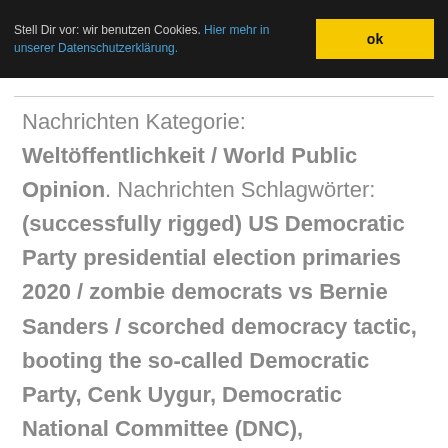Stell Dir vor: wir benutzen Cookies. Hier mehr in unserer Datenschutzerklärung. ok
Nachrichten Kategorie: Weltöffentlichkeit / World Public Opinion. Nachrichten Schlagwörter: (successfully rigged) US Democratic Party presidential election primaries 2020 / zombie democrats vs Bernie Sanders / scorched democracy tactic, booting the so-called Democratic Party, Cenk Uygur, Democratic National Committee (DNC), Democratic National Convention 2020 / Nominierungsparteitag